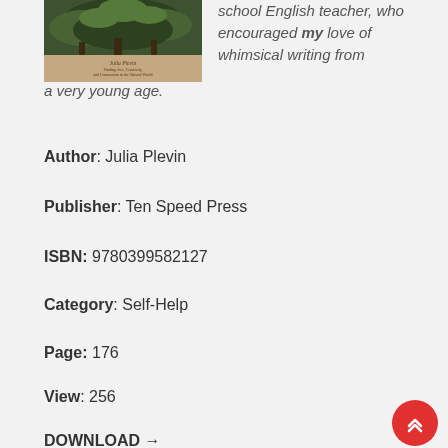[Figure (illustration): Book cover of a self-help book with forest/nature theme, tan/brown background with green forest image at top, author name Julia Plevin below]
school English teacher, who encouraged my love of whimsical writing from a very young age.
Author: Julia Plevin
Publisher: Ten Speed Press
ISBN: 9780399582127
Category: Self-Help
Page: 176
View: 256
DOWNLOAD →
An engaging guide to the art of forest bathing, inspired by the Japanese practice of shinrin-